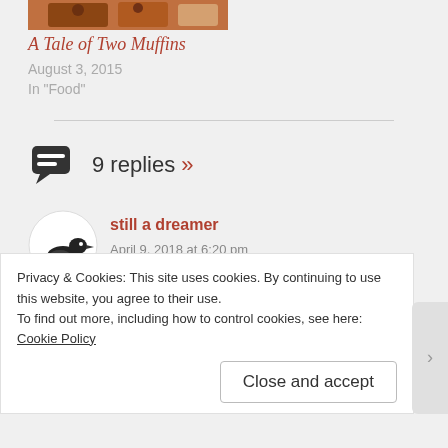[Figure (photo): Food photo showing muffins or baked goods]
A Tale of Two Muffins
August 3, 2015
In "Food"
9 replies »
still a dreamer
April 9, 2018 at 6:20 pm
Mmmm … looks sooo good. I almost feel like baking again! But first some lovely fresh asparagus is calling me.
Privacy & Cookies: This site uses cookies. By continuing to use this website, you agree to their use.
To find out more, including how to control cookies, see here: Cookie Policy
Close and accept